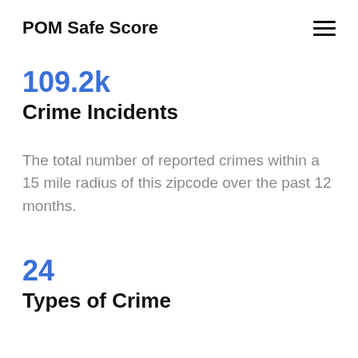POM Safe Score
109.2k
Crime Incidents
The total number of reported crimes within a 15 mile radius of this zipcode over the past 12 months.
24
Types of Crime